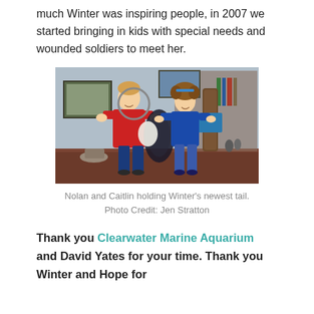much Winter was inspiring people, in 2007 we started bringing in kids with special needs and wounded soldiers to meet her.
[Figure (photo): Two children, a boy in a red shirt and a girl in a blue shirt, holding Winter the dolphin's newest prosthetic tail. They are standing in front of a shelving unit with various items. Photo Credit: Jen Stratton.]
Nolan and Caitlin holding Winter's newest tail.
Photo Credit: Jen Stratton
Thank you Clearwater Marine Aquarium and David Yates for your time. Thank you Winter and Hope for